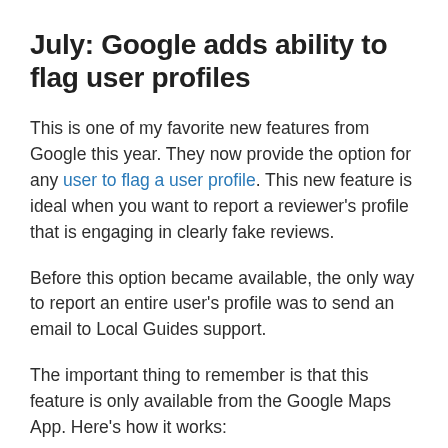July: Google adds ability to flag user profiles
This is one of my favorite new features from Google this year. They now provide the option for any user to flag a user profile. This new feature is ideal when you want to report a reviewer's profile that is engaging in clearly fake reviews.
Before this option became available, the only way to report an entire user's profile was to send an email to Local Guides support.
The important thing to remember is that this feature is only available from the Google Maps App. Here's how it works: